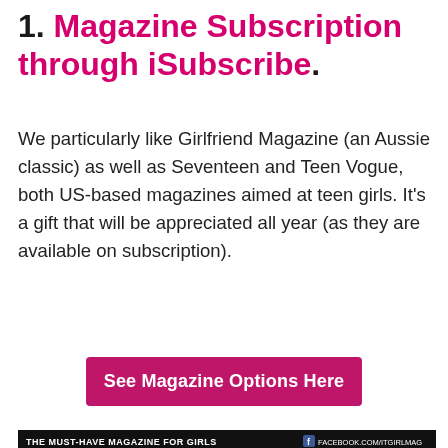1. Magazine Subscription through iSubscribe.
We particularly like Girlfriend Magazine (an Aussie classic) as well as Seventeen and Teen Vogue, both US-based magazines aimed at teen girls. It's a gift that will be appreciated all year (as they are available on subscription).
See Magazine Options Here
[Figure (photo): Cover of 'It Girl' magazine featuring a young woman with dark hair, pink logo text on a purple/lavender background. Top bar reads 'THE MUST-HAVE MAGAZINE FOR GIRLS' and bottom right reads 'WE KNOW WHAT GIRLS LIKE'. Facebook page shown in top right corner.]